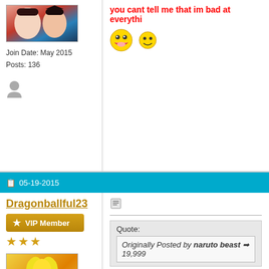[Figure (screenshot): Top portion of forum post showing avatar with anime characters and two emoji faces (awesome face and smiley), with red text 'you cant tell me that im bad at everythi...']
Join Date: May 2015
Posts: 136
you cant tell me that im bad at everythi...
05-19-2015
Dragonballful23
VIP Member
[Figure (illustration): Anime avatar - Super Saiyan character with golden hair on yellow background]
Join Date: Dec 2011
Posts: 386
Quote:
Originally Posted by naruto beast [arrow] 19,999
ahaha do you meant 1,999?
Anyways......
1,998
Finally finished all my tests!!!
I am ekko main now ^_^